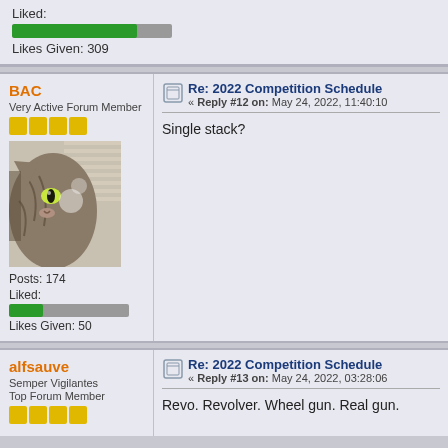Liked:
[Figure (other): Green progress bar for Liked metric]
Likes Given: 309
BAC
Very Active Forum Member
Re: 2022 Competition Schedule
« Reply #12 on: May 24, 2022, 11:40:10
Single stack?
Posts: 174
Liked:
[Figure (other): Green/grey progress bar for Liked metric BAC]
Likes Given: 50
alfsauve
Semper Vigilantes
Top Forum Member
Re: 2022 Competition Schedule
« Reply #13 on: May 24, 2022, 03:28:06
Revo. Revolver. Wheel gun. Real gun.